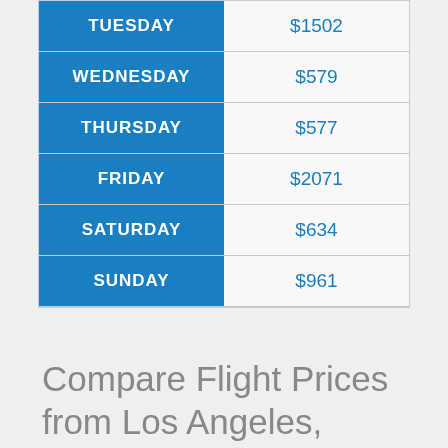| DAY | PRICE |
| --- | --- |
| TUESDAY | $1502 |
| WEDNESDAY | $579 |
| THURSDAY | $577 |
| FRIDAY | $2071 |
| SATURDAY | $634 |
| SUNDAY | $961 |
Compare Flight Prices from Los Angeles, California to Düsseldorf by Month